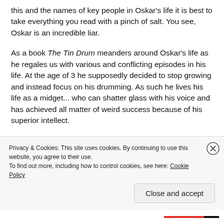this and the names of key people in Oskar's life it is best to take everything you read with a pinch of salt. You see, Oskar is an incredible liar.
As a book The Tin Drum meanders around Oskar's life as he regales us with various and conflicting episodes in his life. At the age of 3 he supposedly decided to stop growing and instead focus on his drumming. As such he lives his life as a midget... who can shatter glass with his voice and has achieved all matter of weird success because of his superior intellect.
This is also a man where there is a high chance that he has
Privacy & Cookies: This site uses cookies. By continuing to use this website, you agree to their use. To find out more, including how to control cookies, see here: Cookie Policy
Close and accept